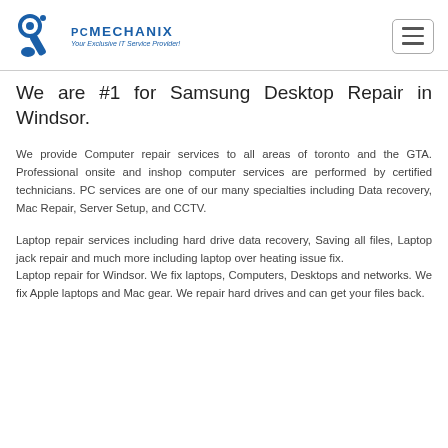PC MECHANIX — Your Exclusive IT Service Provider!
We are #1 for Samsung Desktop Repair in Windsor.
We provide Computer repair services to all areas of toronto and the GTA. Professional onsite and inshop computer services are performed by certified technicians. PC services are one of our many specialties including Data recovery, Mac Repair, Server Setup, and CCTV.
Laptop repair services including hard drive data recovery, Saving all files, Laptop jack repair and much more including laptop over heating issue fix.
Laptop repair for Windsor. We fix laptops, Computers, Desktops and networks. We fix Apple laptops and Mac gear. We repair hard drives and can get your files back.